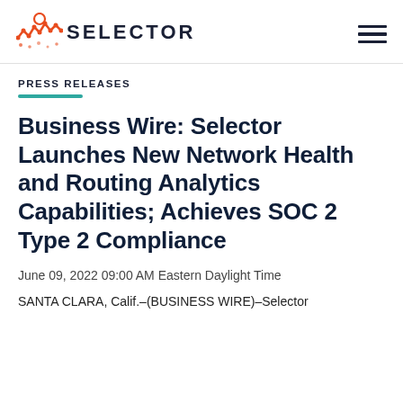[Figure (logo): Selector logo with orange network/wave icon and dark navy text reading SELECTOR]
PRESS RELEASES
Business Wire: Selector Launches New Network Health and Routing Analytics Capabilities; Achieves SOC 2 Type 2 Compliance
June 09, 2022 09:00 AM Eastern Daylight Time
SANTA CLARA, Calif.–(BUSINESS WIRE)–Selector